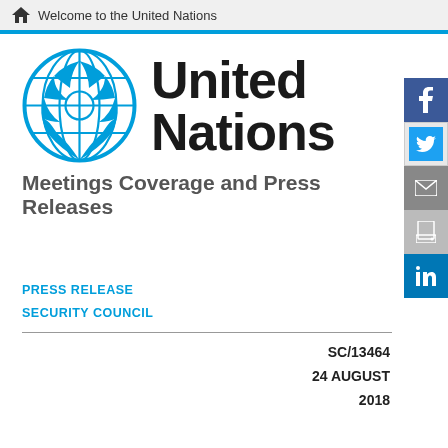Welcome to the United Nations
[Figure (logo): United Nations emblem (globe with olive branches) in blue]
United Nations
Meetings Coverage and Press Releases
PRESS RELEASE
SECURITY COUNCIL
SC/13464
24 AUGUST
2018